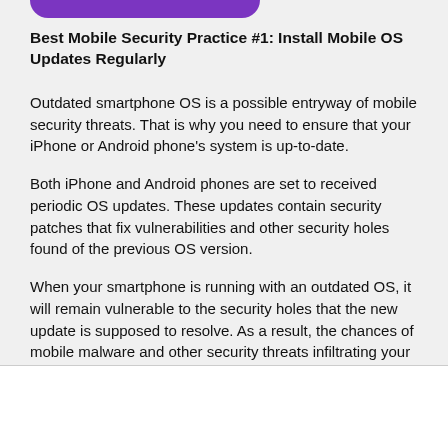[Figure (other): Partial purple rounded button visible at top of page]
Best Mobile Security Practice #1: Install Mobile OS Updates Regularly
Outdated smartphone OS is a possible entryway of mobile security threats. That is why you need to ensure that your iPhone or Android phone's system is up-to-date.
Both iPhone and Android phones are set to received periodic OS updates. These updates contain security patches that fix vulnerabilities and other security holes found of the previous OS version.
When your smartphone is running with an outdated OS, it will remain vulnerable to the security holes that the new update is supposed to resolve. As a result, the chances of mobile malware and other security threats infiltrating your phone will increase.